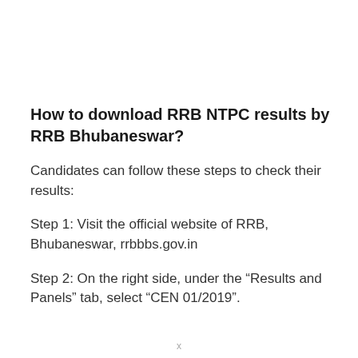How to download RRB NTPC results by RRB Bhubaneswar?
Candidates can follow these steps to check their results:
Step 1: Visit the official website of RRB, Bhubaneswar, rrbbbs.gov.in
Step 2: On the right side, under the “Results and Panels” tab, select “CEN 01/2019”.
x